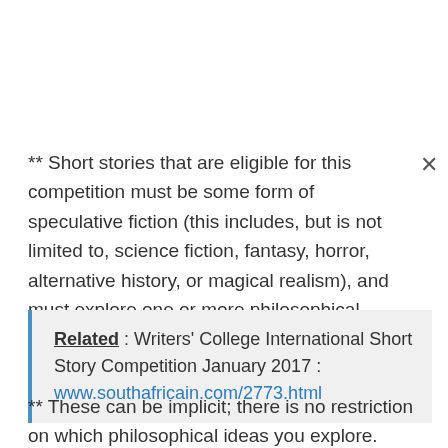** Short stories that are eligible for this competition must be some form of speculative fiction (this includes, but is not limited to, science fiction, fantasy, horror, alternative history, or magical realism), and must explore one or more philosophical ideas.
Related : Writers' College International Short Story Competition January 2017 : www.southafricain.com/2773.html
** These can be implicit; there is no restriction on which philosophical ideas you explore.